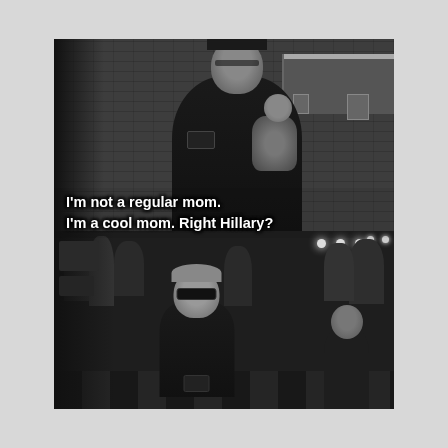[Figure (photo): A black and white two-panel meme photo. Top panel: a woman (resembling Sarah Palin) holding a baby in one arm and looking at her phone with the other, in a backstage/hallway setting with cinderblock walls. Bottom panel: a crowded venue scene with a woman (resembling Hillary Clinton) sitting and looking at her phone while wearing sunglasses. White bold caption text overlaid at the bottom of the top panel reads: "I'm not a regular mom. I'm a cool mom. Right Hillary?"]
I'm not a regular mom. I'm a cool mom. Right Hillary?